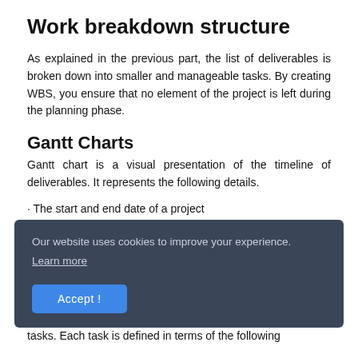Work breakdown structure
As explained in the previous part, the list of deliverables is broken down into smaller and manageable tasks. By creating WBS, you ensure that no element of the project is left during the planning phase.
Gantt Charts
Gantt chart is a visual presentation of the timeline of deliverables. It represents the following details.
· The start and end date of a project
· Project tasks
· Task owners
Our website uses cookies to improve your experience.
Learn more
Accept !
tasks. Each task is defined in terms of the following